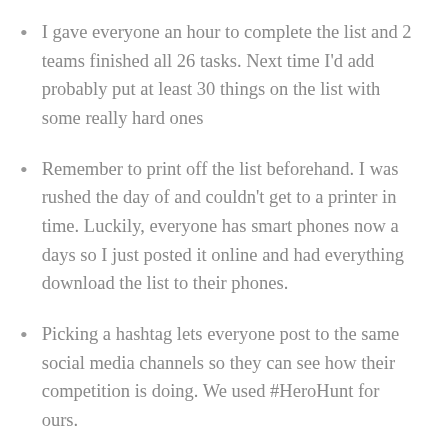I gave everyone an hour to complete the list and 2 teams finished all 26 tasks. Next time I'd add probably put at least 30 things on the list with some really hard ones
Remember to print off the list beforehand. I was rushed the day of and couldn't get to a printer in time. Luckily, everyone has smart phones now a days so I just posted it online and had everything download the list to their phones.
Picking a hashtag lets everyone post to the same social media channels so they can see how their competition is doing. We used #HeroHunt for ours.
If you plan ahead and are tech savy, you can collect everyone's photos and play a slideshow of all the